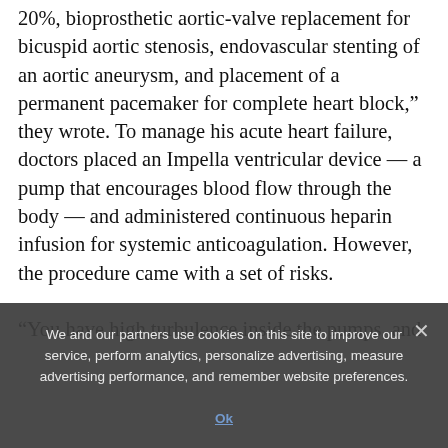20%, bioprosthetic aortic-valve replacement for bicuspid aortic stenosis, endovascular stenting of an aortic aneurysm, and placement of a permanent pacemaker for complete heart block,” they wrote. To manage his acute heart failure, doctors placed an Impella ventricular device — a pump that encourages blood flow through the body — and administered continuous heparin infusion for systemic anticoagulation. However, the procedure came with a set of risks.

“You have high turbulence inside the pumps, and
We and our partners use cookies on this site to improve our service, perform analytics, personalize advertising, measure advertising performance, and remember website preferences.
Ok